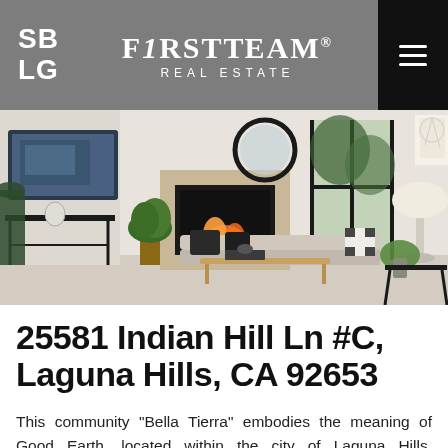SB LG | FirstTeam Real Estate
[Figure (photo): Interior photo of a modern living room with fireplace, sofa with patterned pillows, round mirror, plants, coffee table, and large windows/sliding doors to a balcony.]
25581 Indian Hill Ln #C, Laguna Hills, CA 92653
This community “Bella Tierra” embodies the meaning of Good Earth, located within the city of Laguna Hills, surrounded by tons of trees and